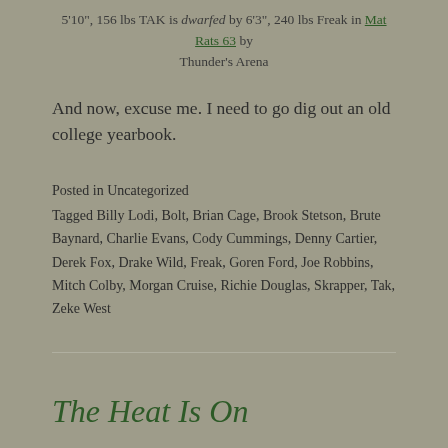5'10", 156 lbs TAK is dwarfed by 6'3", 240 lbs Freak in Mat Rats 63 by Thunder's Arena
And now, excuse me. I need to go dig out an old college yearbook.
Posted in Uncategorized
Tagged Billy Lodi, Bolt, Brian Cage, Brook Stetson, Brute Baynard, Charlie Evans, Cody Cummings, Denny Cartier, Derek Fox, Drake Wild, Freak, Goren Ford, Joe Robbins, Mitch Colby, Morgan Cruise, Richie Douglas, Skrapper, Tak, Zeke West
The Heat Is On